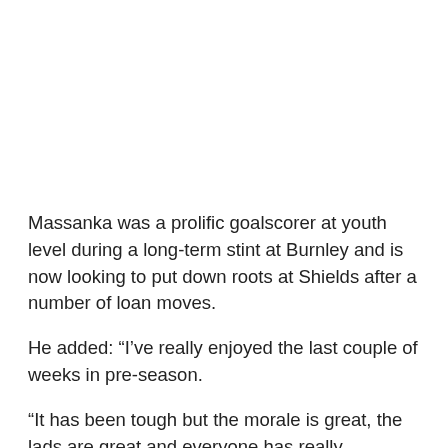Massanka was a prolific goalscorer at youth level during a long-term stint at Burnley and is now looking to put down roots at Shields after a number of loan moves.
He added: “I’ve really enjoyed the last couple of weeks in pre-season.
“It has been tough but the morale is great, the lads are great and everyone has really welcomed me into the group.
“I believe we have the quality to achieve what we want at